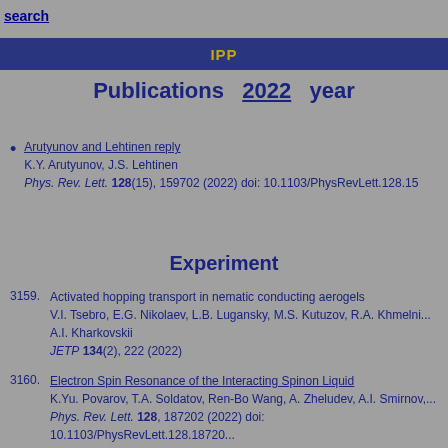search
IPP
Publications 2022 year
Arutyunov and Lehtinen reply
K.Y. Arutyunov, J.S. Lehtinen
Phys. Rev. Lett. 128(15), 159702 (2022) doi: 10.1103/PhysRevLett.128.15...
Experiment
3159. Activated hopping transport in nematic conducting aerogels
V.I. Tsebro, E.G. Nikolaev, L.B. Lugansky, M.S. Kutuzov, R.A. Khmelni..., A.I. Kharkovskii
JETP 134(2), 222 (2022)
3160. Electron Spin Resonance of the Interacting Spinon Liquid
K.Yu. Povarov, T.A. Soldatov, Ren-Bo Wang, A. Zheludev, A.I. Smirnov,...
Phys. Rev. Lett. 128, 187202 (2022) doi: 10.1103/PhysRevLett.128.18720...
arXiv:2108.02835v2
3161. High-field magnetic structure of the triangular antiferromagnet RbFe(Mo...
Yu.A. Sakhratov, O. Prokhnenko, A.Ya. Shapiro, H.D. Zhou, L.E. Svistov...
O.A. Petrenko